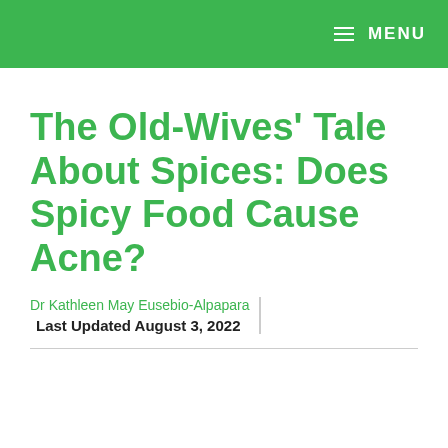MENU
The Old-Wives’ Tale About Spices: Does Spicy Food Cause Acne?
Dr Kathleen May Eusebio-Alpapara
Last Updated August 3, 2022